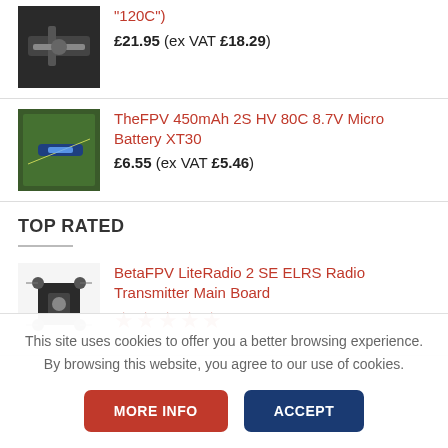"120C")
£21.95 (ex VAT £18.29)
TheFPV 450mAh 2S HV 80C 8.7V Micro Battery XT30
£6.55 (ex VAT £5.46)
TOP RATED
BetaFPV LiteRadio 2 SE ELRS Radio Transmitter Main Board
★★★★★
This site uses cookies to offer you a better browsing experience. By browsing this website, you agree to our use of cookies.